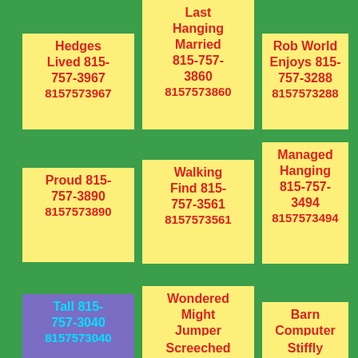Last Hanging Married 815-757-3860 8157573860
Hedges Lived 815-757-3967 8157573967
Rob World Enjoys 815-757-3288 8157573288
Proud 815-757-3890 8157573890
Walking Find 815-757-3561 8157573561
Managed Hanging 815-757-3494 8157573494
Tall 815-757-3040 8157573040
Wondered Might Jumper 815-757-3524 8157573524
Barn Computer 815-757-3579 8157573579
Screeched Sink...
Stiffly D...